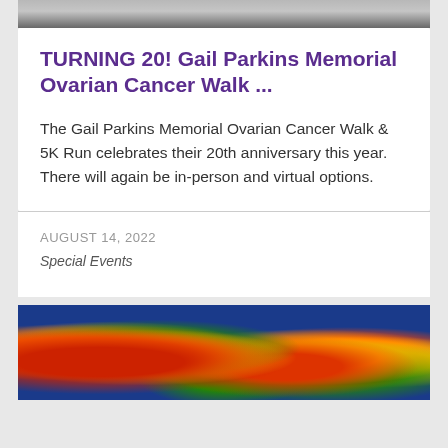[Figure (photo): Top portion of an outdoor event photo showing people at what appears to be a cancer walk event.]
TURNING 20! Gail Parkins Memorial Ovarian Cancer Walk ...
The Gail Parkins Memorial Ovarian Cancer Walk & 5K Run celebrates their 20th anniversary this year. There will again be in-person and virtual options.
AUGUST 14, 2022
Special Events
[Figure (photo): Thermal/false-color microscopy image showing biological cells or organisms in bright red, orange, yellow and green colors against a blue background.]